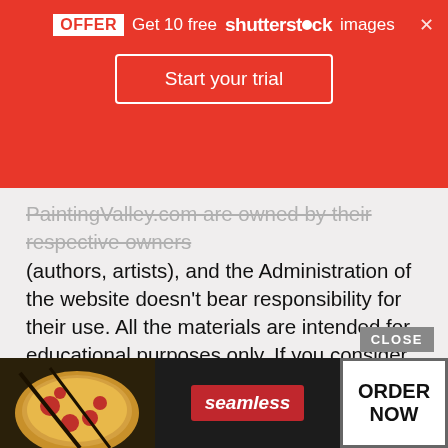[Figure (screenshot): Shutterstock promotional banner with red background. Shows 'OFFER Get 10 free shutterstock images' with a close X button, and a 'Start your trial' button below.]
PaintingValley.com are owned by their respective owners (authors, artists), and the Administration of the website doesn't bear responsibility for their use. All the materials are intended for educational purposes only. If you consider that any of the materials violates your rights, and you do not want your material to be displayed on this website, please get in touch with us via "contact us" page and your copyrighted material will be immediately removed.
[Figure (screenshot): Seamless food delivery advertisement banner at the bottom. Shows pizza image on the left, red 'seamless' brand logo in center, and 'ORDER NOW' button on the right. Has a CLOSE button above it.]